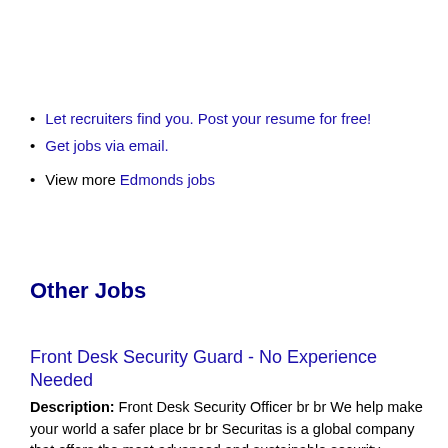Let recruiters find you. Post your resume for free!
Get jobs via email.
View more Edmonds jobs
Other Jobs
Front Desk Security Guard - No Experience Needed
Description: Front Desk Security Officer br br We help make your world a safer place br br Securitas is a global company that offers the most advanced and sustainable security solutions in the industry. We (more...)